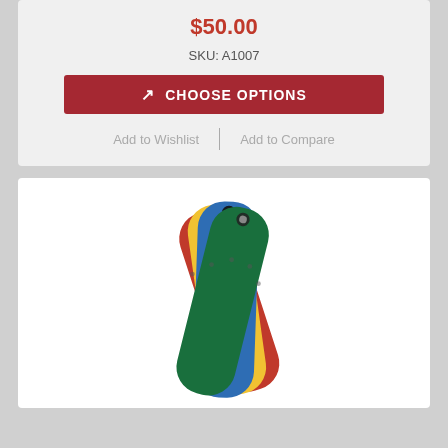$50.00
SKU: A1007
CHOOSE OPTIONS
Add to Wishlist
Add to Compare
[Figure (photo): Four colored polymer swing seat tags fanned out — red, yellow, blue, and green — with metal hole grommets at the top]